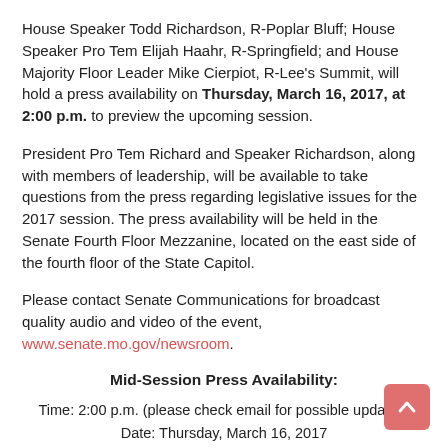House Speaker Todd Richardson, R-Poplar Bluff; House Speaker Pro Tem Elijah Haahr, R-Springfield; and House Majority Floor Leader Mike Cierpiot, R-Lee's Summit, will hold a press availability on Thursday, March 16, 2017, at 2:00 p.m. to preview the upcoming session.
President Pro Tem Richard and Speaker Richardson, along with members of leadership, will be available to take questions from the press regarding legislative issues for the 2017 session. The press availability will be held in the Senate Fourth Floor Mezzanine, located on the east side of the fourth floor of the State Capitol.
Please contact Senate Communications for broadcast quality audio and video of the event, www.senate.mo.gov/newsroom.
Mid-Session Press Availability:
Time: 2:00 p.m. (please check email for possible updates)
Date: Thursday, March 16, 2017
Location: Senate 4th Floor Mezzanine in the State Capitol